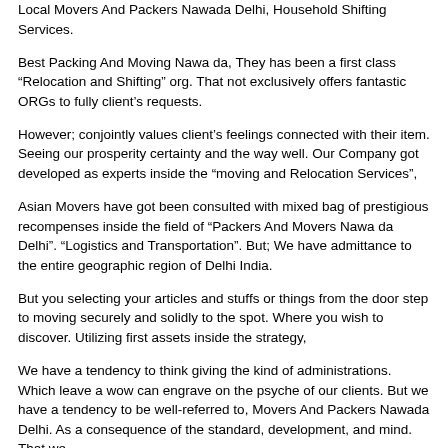Local Movers And Packers Nawada Delhi, Household Shifting Services.
Best Packing And Moving Nawa da, They has been a first class “Relocation and Shifting” org. That not exclusively offers fantastic ORGs to fully client’s requests.
However; conjointly values client’s feelings connected with their item. Seeing our prosperity certainty and the way well. Our Company got developed as experts inside the “moving and Relocation Services”,
Asian Movers have got been consulted with mixed bag of prestigious recompenses inside the field of “Packers And Movers Nawa da Delhi”. “Logistics and Transportation”. But; We have admittance to the entire geographic region of Delhi India.
But you selecting your articles and stuffs or things from the door step to moving securely and solidly to the spot. Where you wish to discover. Utilizing first assets inside the strategy,
We have a tendency to think giving the kind of administrations. Which leave a wow can engrave on the psyche of our clients. But we have a tendency to be well-referred to, Movers And Packers Nawada Delhi. As a consequence of the standard, development, and mind. That we